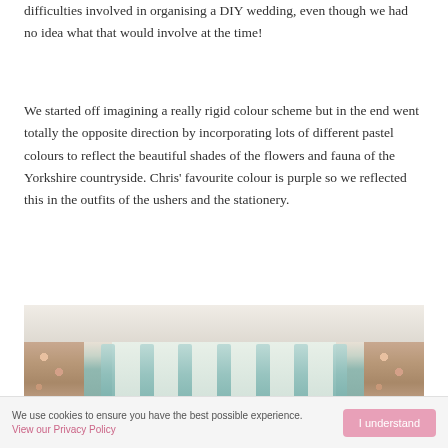difficulties involved in organising a DIY wedding, even though we had no idea what that would involve at the time!
We started off imagining a really rigid colour scheme but in the end went totally the opposite direction by incorporating lots of different pastel colours to reflect the beautiful shades of the flowers and fauna of the Yorkshire countryside. Chris' favourite colour is purple so we reflected this in the outfits of the ushers and the stationery.
[Figure (photo): Photo of bridesmaids dresses hanging on a curtain rod in front of a window. The dresses appear to be teal/mint coloured, hanging between floral curtains in a room with a white ceiling.]
We use cookies to ensure you have the best possible experience. View our Privacy Policy